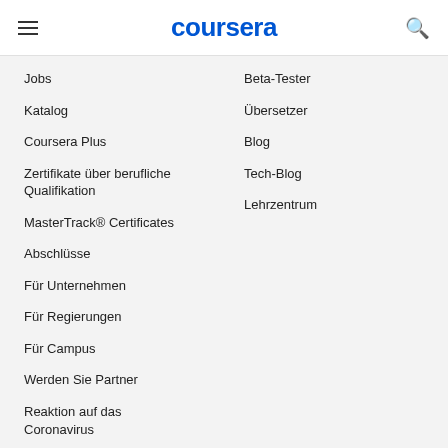coursera
Jobs
Katalog
Coursera Plus
Zertifikate über berufliche Qualifikation
MasterTrack® Certificates
Abschlüsse
Für Unternehmen
Für Regierungen
Für Campus
Werden Sie Partner
Reaktion auf das Coronavirus
Beta-Tester
Übersetzer
Blog
Tech-Blog
Lehrzentrum
Mehr